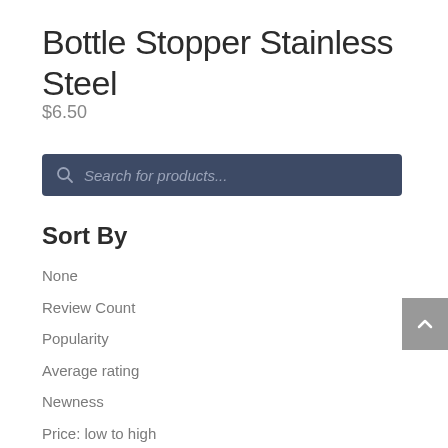Bottle Stopper Stainless Steel
$6.50
[Figure (screenshot): Search bar with dark navy background and placeholder text 'Search for products...' with a magnifying glass icon]
Sort By
None
Review Count
Popularity
Average rating
Newness
Price: low to high
Price: high to low
Random Products
Product Name